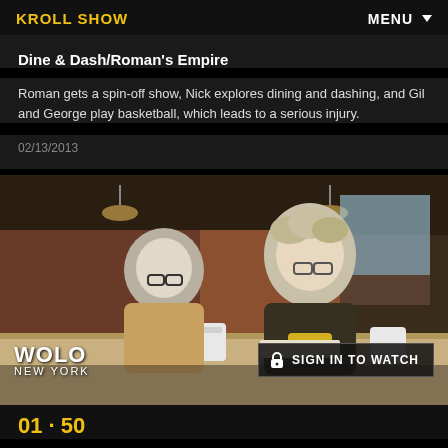KROLL SHOW | MENU
Dine & Dash/Roman's Empire
Roman gets a spin-off show, Nick explores dining and dashing, and Gil and George play basketball, which leads to a serious injury.
02/13/2013
[Figure (photo): Two men sitting at a restaurant table with mugs. WOLO NEW YORK watermark in lower left. Sign in to watch button overlay.]